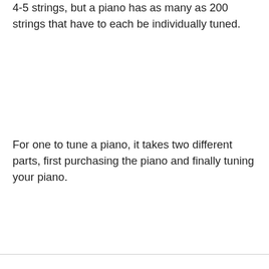4-5 strings, but a piano has as many as 200 strings that have to each be individually tuned.
For one to tune a piano, it takes two different parts, first purchasing the piano and finally tuning your piano.